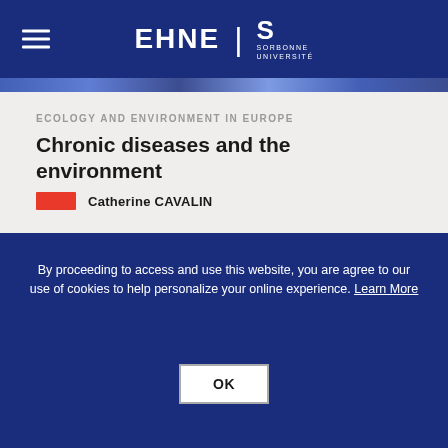[Figure (logo): EHNE | Sorbonne Université navigation bar logo with hamburger menu on dark blue background]
ECOLOGY AND ENVIRONMENT IN EUROPE
Chronic diseases and the environment
Catherine CAVALIN
[Figure (photo): Partial view of a dark, aged image (article thumbnail) showing wood-like textures in brown and dark tones]
By proceeding to access and use this website, you are agree to our use of cookies to help personalize your online experience. Learn More
OK